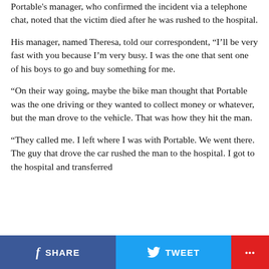Portable's manager, who confirmed the incident via a telephone chat, noted that the victim died after he was rushed to the hospital.
His manager, named Theresa, told our correspondent, “I’ll be very fast with you because I’m very busy. I was the one that sent one of his boys to go and buy something for me.
“On their way going, maybe the bike man thought that Portable was the one driving or they wanted to collect money or whatever, but the man drove to the vehicle. That was how they hit the man.
“They called me. I left where I was with Portable. We went there. The guy that drove the car rushed the man to the hospital. I got to the hospital and transferred
SHARE   TWEET